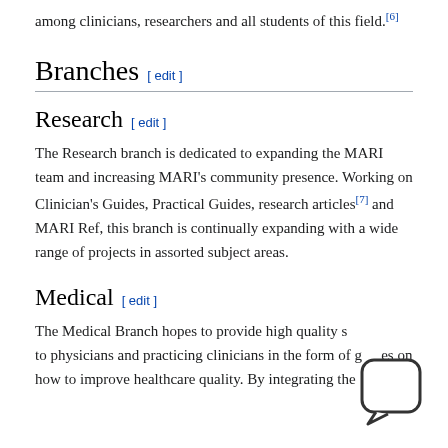among clinicians, researchers and all students of this field.[6]
Branches [edit]
Research [edit]
The Research branch is dedicated to expanding the MARI team and increasing MARI's community presence. Working on Clinician's Guides, Practical Guides, research articles[7] and MARI Ref, this branch is continually expanding with a wide range of projects in assorted subject areas.
Medical [edit]
The Medical Branch hopes to provide high quality s... to physicians and practicing clinicians in the form of g...s on how to improve healthcare quality. By integrating the